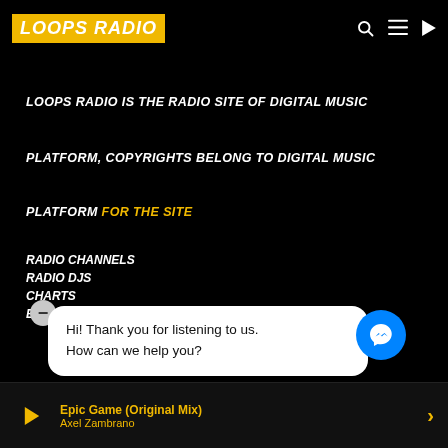LOOPS RADIO
LOOPS RADIO IS THE RADIO SITE OF DIGITAL MUSIC
PLATFORM, COPYRIGHTS BELONG TO DIGITAL MUSIC
PLATFORM FOR THE SITE
RADIO CHANNELS
RADIO DJS
CHARTS
EVENTS
[Figure (screenshot): Chat popup bubble with text: Hi! Thank you for listening to us. How can we help you? with a minus/close button and Facebook Messenger chat icon]
[Figure (infographic): Row of social media icons: YouTube, VK, Twitter, SoundCloud, Mixcloud, Apple, Instagram, Facebook]
Epic Game (Original Mix)
Axel Zambrano